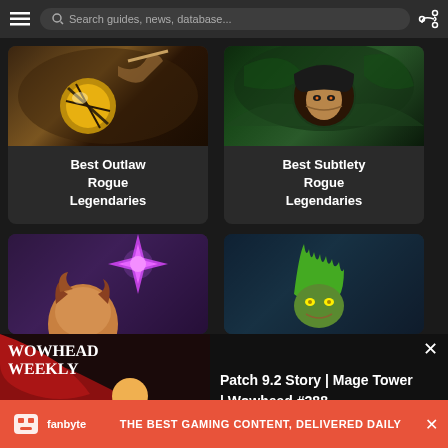Search guides, news, database...
[Figure (screenshot): Card: Best Outlaw Rogue Legendaries - game artwork with golden orb and rogue character]
[Figure (screenshot): Card: Best Subtlety Rogue Legendaries - game artwork with hooded rogue face]
[Figure (screenshot): Card: partial view - game artwork with star/sparkle weapon]
[Figure (screenshot): Card: partial view - game artwork with goblin/troll character green hair]
[Figure (screenshot): Wowhead Weekly #288 overlay banner - Patch 9.2 Story | Mage Tower | Wowhead #288]
Patch 9.2 Story | Mage Tower | Wowhead #288
[Figure (screenshot): Fanbyte ad banner - The best gaming content, delivered daily]